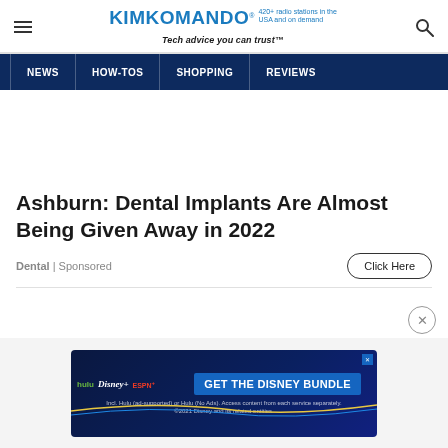KIMKOMANDO® 420+ radio stations in the USA and on demand Tech advice you can trust™
NEWS | HOW-TOS | SHOPPING | REVIEWS
Ashburn: Dental Implants Are Almost Being Given Away in 2022
Dental | Sponsored
[Figure (screenshot): Disney Bundle advertisement: hulu Disney+ ESPN+ GET THE DISNEY BUNDLE. Incl. Hulu (ad-supported) or Hulu (No Ads). Access content from each service separately. ©2021 Disney and its related entities.]